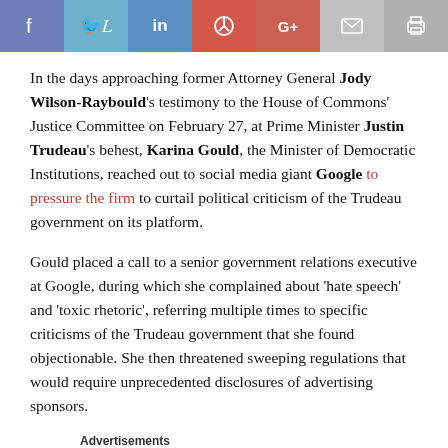[Figure (other): Social media sharing bar with icons: Facebook (blue), Twitter (light blue), LinkedIn (blue), Pinterest (red), Google+ (red-orange), Email (gray), Print (gray)]
In the days approaching former Attorney General Jody Wilson-Raybould's testimony to the House of Commons' Justice Committee on February 27, at Prime Minister Justin Trudeau's behest, Karina Gould, the Minister of Democratic Institutions, reached out to social media giant Google to pressure the firm to curtail political criticism of the Trudeau government on its platform.
Gould placed a call to a senior government relations executive at Google, during which she complained about 'hate speech' and 'toxic rhetoric', referring multiple times to specific criticisms of the Trudeau government that she found objectionable. She then threatened sweeping regulations that would require unprecedented disclosures of advertising sponsors.
Advertisements